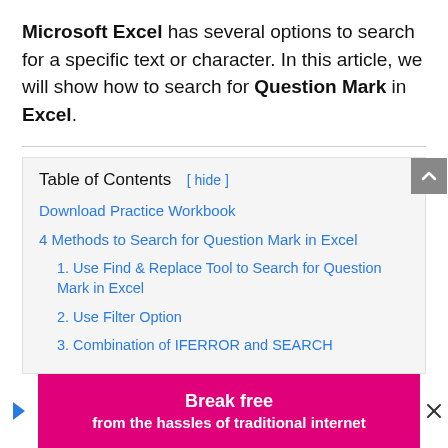Microsoft Excel has several options to search for a specific text or character. In this article, we will show how to search for Question Mark in Excel.
Table of Contents [ hide ]
Download Practice Workbook
4 Methods to Search for Question Mark in Excel
1. Use Find & Replace Tool to Search for Question Mark in Excel
2. Use Filter Option
3. Combination of IFERROR and SEARCH Fu...
[Figure (other): Advertisement banner: pink background with text 'Break free from the hassles of traditional internet']